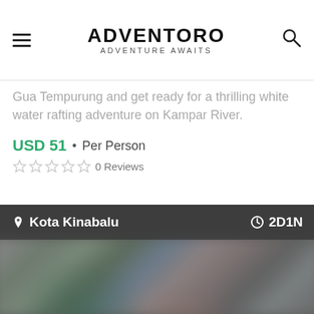ADVENTORO · ADVENTURE AWAITS
Gua Tempurung and get ready for a thrilling white water rafting adventure on Kampar River.
USD 51 • Per Person
0 Reviews
[Figure (photo): Blurred outdoor adventure photo with location overlay showing Kota Kinabalu and duration 2D1N]